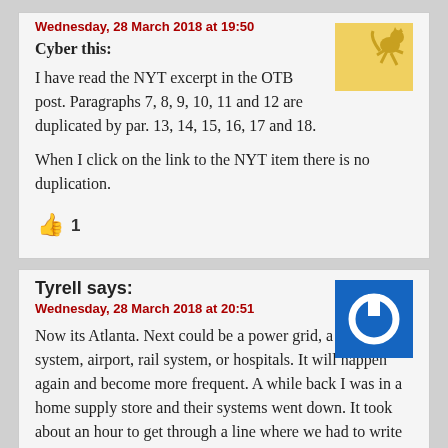Wednesday, 28 March 2018 at 19:50
Cyber this:
I have read the NYT excerpt in the OTB post. Paragraphs 7, 8, 9, 10, 11 and 12 are duplicated by par. 13, 14, 15, 16, 17 and 18.
When I click on the link to the NYT item there is no duplication.
1
Tyrell says:
Wednesday, 28 March 2018 at 20:51
Now its Atlanta. Next could be a power grid, a traffic light system, airport, rail system, or hospitals. It will happen again and become more frequent. A while back I was in a home supply store and their systems went down. It took about an hour to get through a line where we had to write